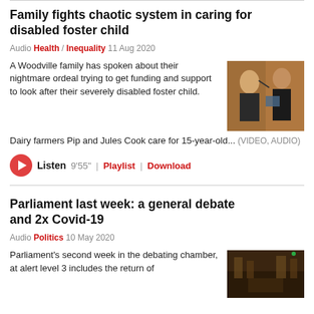Family fights chaotic system in caring for disabled foster child
Audio Health / Inequality 11 Aug 2020
A Woodville family has spoken about their nightmare ordeal trying to get funding and support to look after their severely disabled foster child.
[Figure (photo): Photo of two people, one being fed by another, warm indoor setting]
Dairy farmers Pip and Jules Cook care for 15-year-old... (VIDEO, AUDIO)
Listen 9'55" | Playlist | Download
Parliament last week: a general debate and 2x Covid-19
Audio Politics 10 May 2020
Parliament's second week in the debating chamber, at alert level 3 includes the return of
[Figure (photo): Photo of parliament debating chamber interior, dark warm tones]